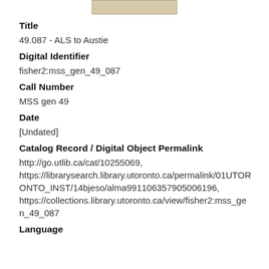[Figure (illustration): Small thumbnail image of a document, beige/tan color]
Title
49.087 - ALS to Austie
Digital Identifier
fisher2:mss_gen_49_087
Call Number
MSS gen 49
Date
[Undated]
Catalog Record / Digital Object Permalink
http://go.utlib.ca/cat/10255069, https://librarysearch.library.utoronto.ca/permalink/01UTORONTO_INST/14bjeso/alma991106357905006196, https://collections.library.utoronto.ca/view/fisher2:mss_gen_49_087
Language